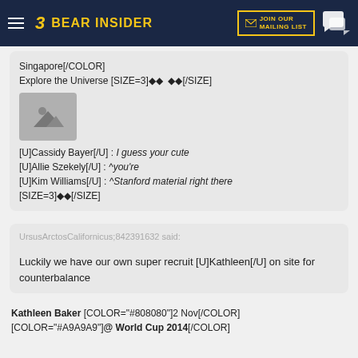BEAR INSIDER | JOIN OUR MAILING LIST
Singapore[/COLOR]
Explore the Universe [SIZE=3]◆◆  ◆◆[/SIZE]
[Figure (photo): Placeholder image icon with mountain/landscape symbol]
[U]Cassidy Bayer[/U] : I guess your cute
[U]Allie Szekely[/U] : ^you're
[U]Kim Williams[/U] : ^Stanford material right there
[SIZE=3]◆◆[/SIZE]
UrsusArctosCalifornicus;842391632 said:
Luckily we have our own super recruit [U]Kathleen[/U] on site for counterbalance
Kathleen Baker [COLOR="#808080"]2 Nov[/COLOR]
[COLOR="#A9A9A9"]@ World Cup 2014[/COLOR]